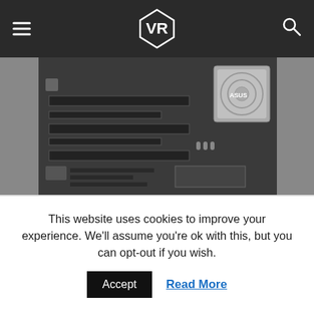VR (logo navigation bar)
[Figure (photo): ASUS X99-E WS motherboard photo viewed from above, showing PCIe slots, heatsink, and circuit components against dark background]
As more and more X99 motherboards leak, it only made sense to release a portion of the trove of boards that haven't already been announced or leaked. The Asus X99-E WS, a Bright Side of News* exclusive, is a particularly interesting one because it is Asus' (TPE:2357) latest high performance motherboard for workstation users. Because X99 is an entirely new platform there are very likely going to be a lot of people searching for new workstation boards
This website uses cookies to improve your experience. We'll assume you're ok with this, but you can opt-out if you wish. Accept Read More